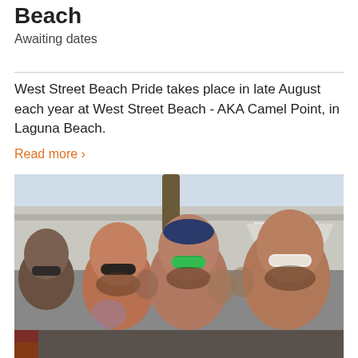Beach
Awaiting dates
West Street Beach Pride takes place in late August each year at West Street Beach - AKA Camel Point, in Laguna Beach.
Read more >
[Figure (photo): Group of shirtless men with sunglasses at an outdoor beach pride event. The man in the center wears a bandana and green mirrored sunglasses. The man on the right has white-framed sunglasses. Several people are visible in the background.]